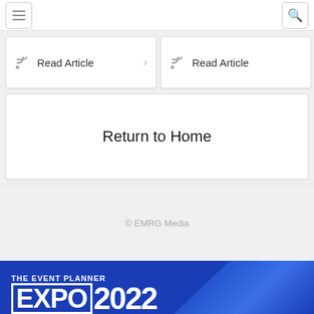Navigation bar with hamburger menu and search icon
Read Article
Read Article
Return to Home
© EMRG Media
[Figure (logo): The Event Planner EXPO 2022 logo on blue background]